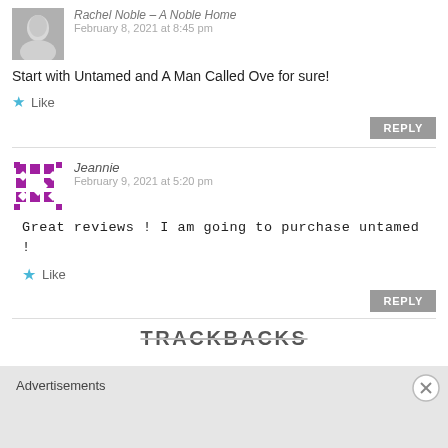Rachel Noble – A Noble Home
February 8, 2021 at 8:45 pm
Start with Untamed and A Man Called Ove for sure!
Like
REPLY
Jeannie
February 9, 2021 at 5:20 pm
Great reviews ! I am going to purchase untamed !
Like
REPLY
TRACKBACKS
Advertisements